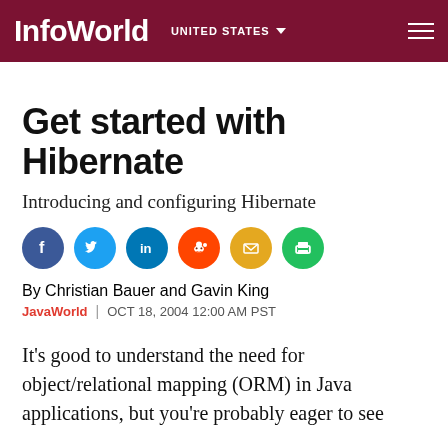InfoWorld | UNITED STATES
Get started with Hibernate
Introducing and configuring Hibernate
[Figure (infographic): Row of social share icons: Facebook (blue), Twitter (blue), LinkedIn (blue), Reddit (red/orange), Email (yellow/gold), Print (green)]
By Christian Bauer and Gavin King
JavaWorld | OCT 18, 2004 12:00 AM PST
It's good to understand the need for object/relational mapping (ORM) in Java applications, but you're probably eager to see